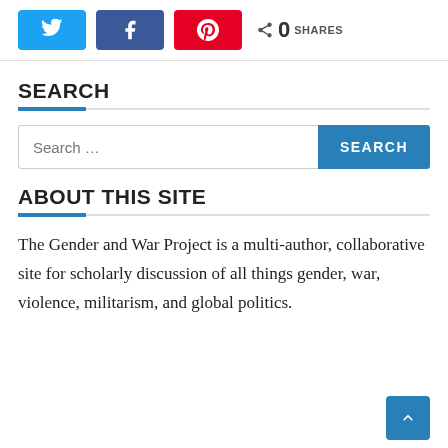[Figure (screenshot): Social share buttons: Twitter (blue), Facebook (dark blue), Pinterest (red), and a share count showing 0 SHARES]
SEARCH
[Figure (screenshot): Search input field with placeholder 'Search …' and a blue SEARCH button]
ABOUT THIS SITE
The Gender and War Project is a multi-author, collaborative site for scholarly discussion of all things gender, war, violence, militarism, and global politics.